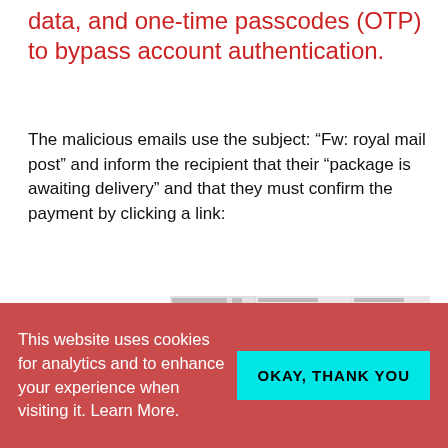data, and one-time passcodes (OTP) to bypass account authentication.
The malicious emails use the subject: “Fw: royal mail post” and inform the recipient that their “package is awaiting delivery” and that they must confirm the payment by clicking a link:
[Figure (screenshot): A composite screenshot showing three panels: a phishing email themed as Royal Mail with red header and van image, a payment detail form page, and a 3D Secure payment card verification page showing VerifiedBy Visa and MasterCard SecureCode logos.]
This website uses cookies for analytics and to enhance your experience when visiting it. Learn More.